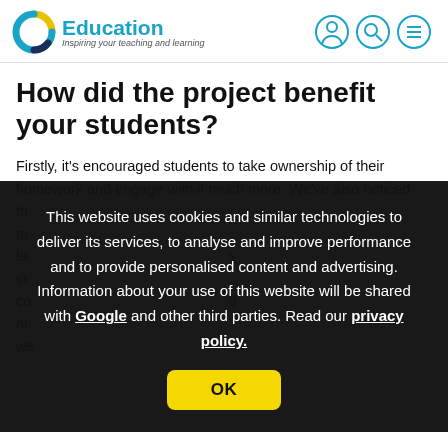C Education — Inspiring your teaching and learning
How did the project benefit your students?
Firstly, it's encouraged students to take ownership of their homework and engage with it much more. We've also noticed th... to... la... st... co... d hi... we... su... di... he to isolate.
This website uses cookies and similar technologies to deliver its services, to analyse and improve performance and to provide personalised content and advertising. Information about your use of this website will be shared with Google and other third parties. Read our privacy policy.